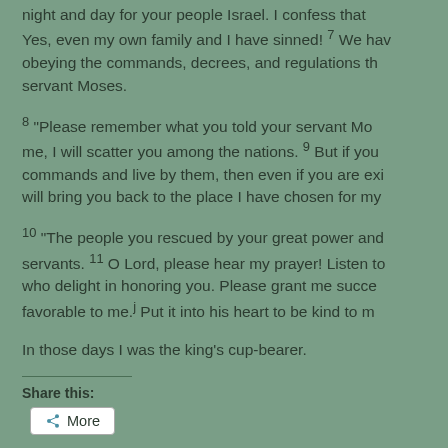night and day for your people Israel. I confess that Yes, even my own family and I have sinned! 7 We have obeying the commands, decrees, and regulations th servant Moses.
8 “Please remember what you told your servant Mo me, I will scatter you among the nations. 9 But if you commands and live by them, then even if you are exi will bring you back to the place I have chosen for my
10 “The people you rescued by your great power and servants. 11 O Lord, please hear my prayer! Listen to who delight in honoring you. Please grant me succe favorable to me.ʲ Put it into his heart to be kind to m
In those days I was the king’s cup-bearer.
Share this:
More